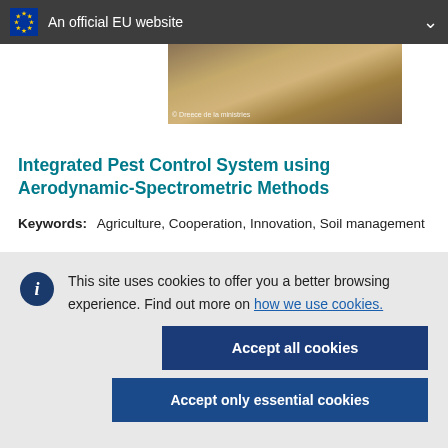An official EU website
[Figure (photo): Aerial or ground-level photo of agricultural field/soil with tracks, brownish sandy terrain]
Integrated Pest Control System using Aerodynamic-Spectrometric Methods
Keywords:    Agriculture, Cooperation, Innovation, Soil management
This site uses cookies to offer you a better browsing experience. Find out more on how we use cookies.
Accept all cookies
Accept only essential cookies